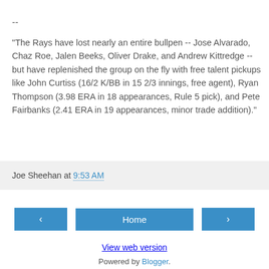--
"The Rays have lost nearly an entire bullpen -- Jose Alvarado, Chaz Roe, Jalen Beeks, Oliver Drake, and Andrew Kittredge -- but have replenished the group on the fly with free talent pickups like John Curtiss (16/2 K/BB in 15 2/3 innings, free agent), Ryan Thompson (3.98 ERA in 18 appearances, Rule 5 pick), and Pete Fairbanks (2.41 ERA in 19 appearances, minor trade addition)."
Joe Sheehan at 9:53 AM
< Home >
View web version
Powered by Blogger.